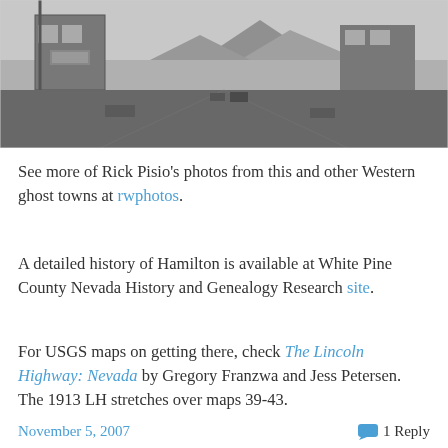[Figure (photo): Black and white historical photograph of a Western town street scene, showing storefronts and buildings on both sides with mountains in the background, appears to be Hamilton, Nevada ghost town]
See more of Rick Pisio's photos from this and other Western ghost towns at rwphotos.
A detailed history of Hamilton is available at White Pine County Nevada History and Genealogy Research site.
For USGS maps on getting there, check The Lincoln Highway: Nevada by Gregory Franzwa and Jess Petersen. The 1913 LH stretches over maps 39-43.
November 5, 2007    1 Reply